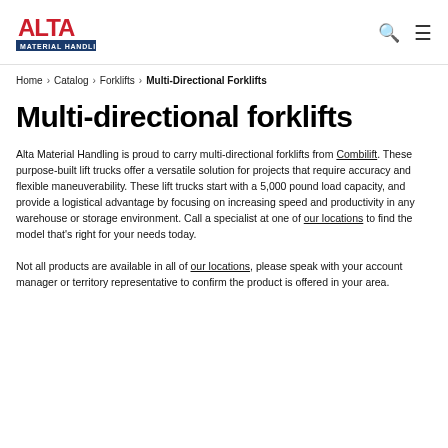[Figure (logo): Alta Material Handling logo — red ALTA text with blue banner reading MATERIAL HANDLING]
Home > Catalog > Forklifts > Multi-Directional Forklifts
Multi-directional forklifts
Alta Material Handling is proud to carry multi-directional forklifts from Combilift. These purpose-built lift trucks offer a versatile solution for projects that require accuracy and flexible maneuverability. These lift trucks start with a 5,000 pound load capacity, and provide a logistical advantage by focusing on increasing speed and productivity in any warehouse or storage environment. Call a specialist at one of our locations to find the model that's right for your needs today.
Not all products are available in all of our locations, please speak with your account manager or territory representative to confirm the product is offered in your area.